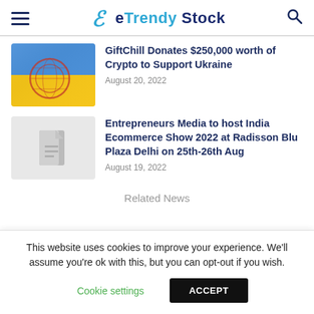eTrendy Stock
GiftChill Donates $250,000 worth of Crypto to Support Ukraine
August 20, 2022
[Figure (photo): Ukrainian flag with blue and yellow colors with a globe overlay]
Entrepreneurs Media to host India Ecommerce Show 2022 at Radisson Blu Plaza Delhi on 25th-26th Aug
August 19, 2022
[Figure (illustration): Gray placeholder with document icon]
Related News
This website uses cookies to improve your experience. We'll assume you're ok with this, but you can opt-out if you wish.
Cookie settings   ACCEPT